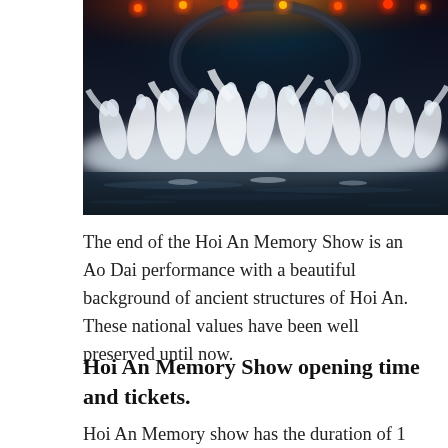[Figure (photo): Performance photo of dancers in white Ao Dai costumes on a stage with colorful lights (red, orange, teal) and a misty atmosphere, reflected in water below]
The end of the Hoi An Memory Show is an Ao Dai performance with a beautiful background of ancient structures of Hoi An. These national values have been well preserved until now.
Hoi An Memory Show opening time and tickets.
Hoi An Memory show has the duration of 1 hour 15 minutes from 19:30 to 20:45 and open from every